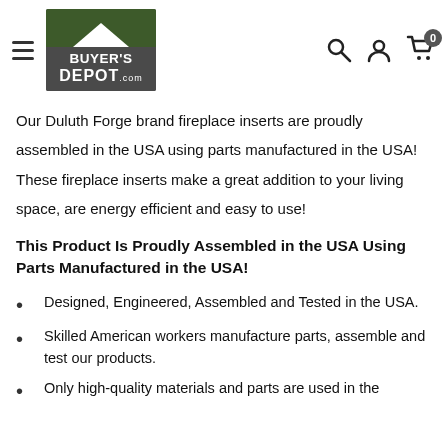[Figure (logo): Buyer's Depot .com logo with green house roof and dark grey background]
Our Duluth Forge brand fireplace inserts are proudly assembled in the USA using parts manufactured in the USA! These fireplace inserts make a great addition to your living space, are energy efficient and easy to use!
This Product Is Proudly Assembled in the USA Using Parts Manufactured in the USA!
Designed, Engineered, Assembled and Tested in the USA.
Skilled American workers manufacture parts, assemble and test our products.
Only high-quality materials and parts are used in the